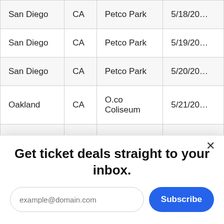| San Diego | CA | Petco Park | 5/18/20… |
| San Diego | CA | Petco Park | 5/19/20… |
| San Diego | CA | Petco Park | 5/20/20… |
| Oakland | CA | O.co Coliseum | 5/21/20… |
| Oakland | CA | O.co | 5/22/20… |
Get ticket deals straight to your inbox.
example@domain.com [input field] Subscribe [button]